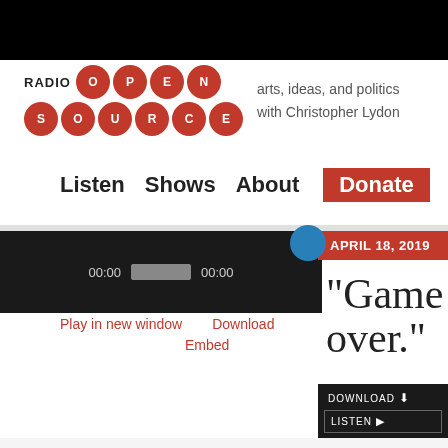[Figure (logo): Radio Open Source logo with red circle letters and tagline 'arts, ideas, and politics with Christopher Lydon']
Listen   Shows   About   Donate
[Figure (screenshot): Audio player widget showing 00:00 timecodes and progress bar]
Play in new window   Download
Embed
APRIL 18, 2019
"Game over."
DOWNLOAD   LISTEN   TWEET   SHARE   EMAIL